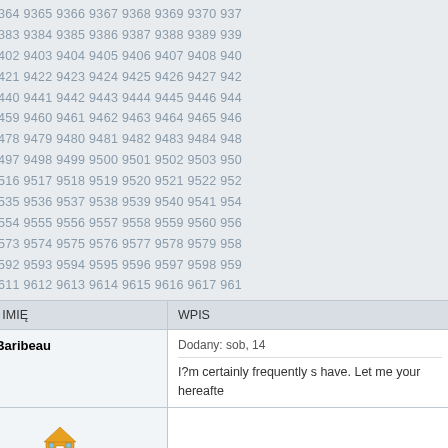9363 9364 9365 9366 9367 9368 9369 9370 937 9382 9383 9384 9385 9386 9387 9388 9389 939 9401 9402 9403 9404 9405 9406 9407 9408 940 9420 9421 9422 9423 9424 9425 9426 9427 942 9439 9440 9441 9442 9443 9444 9445 9446 944 9458 9459 9460 9461 9462 9463 9464 9465 946 9477 9478 9479 9480 9481 9482 9483 9484 948 9496 9497 9498 9499 9500 9501 9502 9503 950 9515 9516 9517 9518 9519 9520 9521 9522 952 9534 9535 9536 9537 9538 9539 9540 9541 954 9553 9554 9555 9556 9557 9558 9559 9560 956 9572 9573 9574 9575 9576 9577 9578 9579 958 9591 9592 9593 9594 9595 9596 9597 9598 959 9610 9611 9612 9613 9614 9615 9616 9617 961 9629 9630 9631 9632 9633 9634 9635 9636 963 9648 9649 9650 9651 9652 9653 9654 9655 965 9667 9668 9669 9670 9671 9672 9673 9674 967 9686 9687 9688 9689 9690 9691 9692 9693 969
| NICK / IMIĘ | WPIS |
| --- | --- |
| Otha Baribeau | Dodany: sob, 14...
I?m certainly frequently s have. Let me your hereafter |
| [icon] |  |
| Lai Mines | Dodany: sob, 14...
hello! I like yo... |